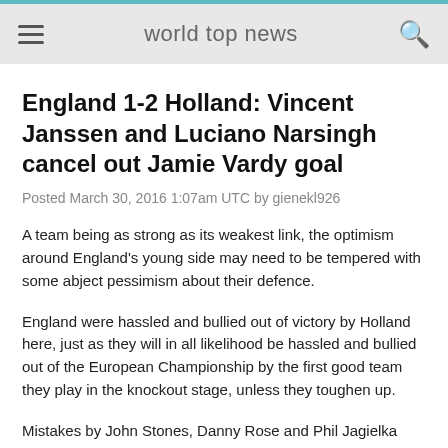world top news
England 1-2 Holland: Vincent Janssen and Luciano Narsingh cancel out Jamie Vardy goal
Posted March 30, 2016 1:07am UTC by gienekl926
A team being as strong as its weakest link, the optimism around England's young side may need to be tempered with some abject pessimism about their defence.
England were hassled and bullied out of victory by Holland here, just as they will in all likelihood be hassled and bullied out of the European Championship by the first good team they play in the knockout stage, unless they toughen up.
Mistakes by John Stones, Danny Rose and Phil Jagielka cost them, and Roy Hodgson will have been dismayed that for the second